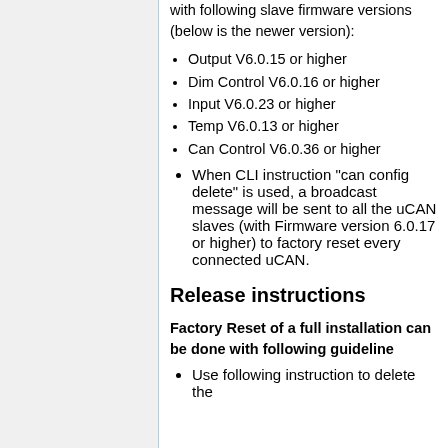with following slave firmware versions (below is the newer version):
Output V6.0.15 or higher
Dim Control V6.0.16 or higher
Input V6.0.23 or higher
Temp V6.0.13 or higher
Can Control V6.0.36 or higher
When CLI instruction "can config delete" is used, a broadcast message will be sent to all the uCAN slaves (with Firmware version 6.0.17 or higher) to factory reset every connected uCAN.
Release instructions
Factory Reset of a full installation can be done with following guideline
Use following instruction to delete the